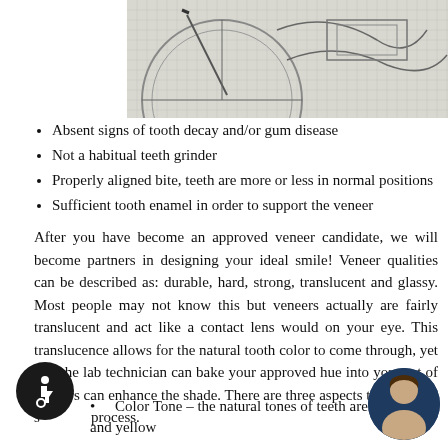[Figure (photo): Engineering/architectural blueprint drawing with pencil and protractor on graph paper]
Absent signs of tooth decay and/or gum disease
Not a habitual teeth grinder
Properly aligned bite, teeth are more or less in normal positions
Sufficient tooth enamel in order to support the veneer
After you have become an approved veneer candidate, we will become partners in designing your ideal smile! Veneer qualities can be described as: durable, hard, strong, translucent and glassy. Most people may not know this but veneers actually are fairly translucent and act like a contact lens would on your eye. This translucence allows for the natural tooth color to come through, yet that the lab technician can bake your approved hue into your set of veneers can enhance the shade. There are three aspects to the shade selection process.
Color Tone – the natural tones of teeth are: red, blue and yellow